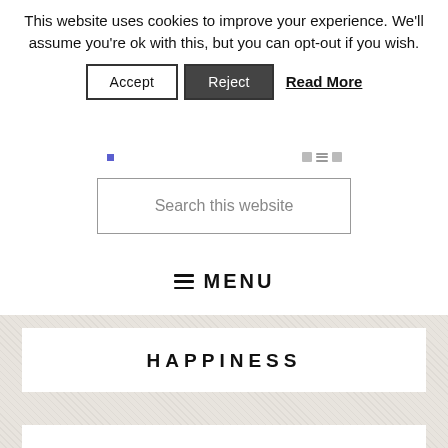This website uses cookies to improve your experience. We'll assume you're ok with this, but you can opt-out if you wish.
Accept  Reject  Read More
Search this website
≡ MENU
HAPPINESS